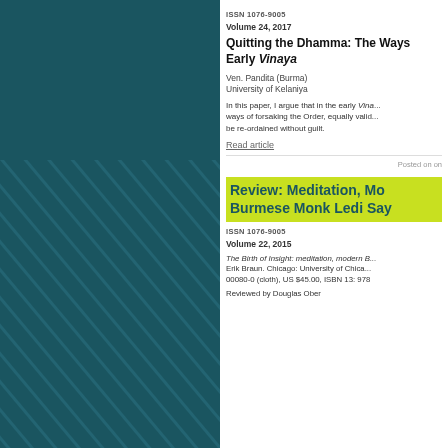[Figure (illustration): Dark teal/green panel on the left side with diagonal stripe pattern in lower portion]
ISSN 1076-9005
Volume 24, 2017
Quitting the Dhamma: The Ways Early Vinaya
Ven. Pandita (Burma)
University of Kelaniya
In this paper, I argue that in the early Vina... ways of forsaking the Order, equally valid... be re-ordained without guilt.
Read article
Posted on on
Review: Meditation, Mo... Burmese Monk Ledi Say...
ISSN 1076-9005
Volume 22, 2015
The Birth of Insight: meditation, modern B... Erik Braun. Chicago: University of Chica... 00080-0 (cloth), US $45.00, ISBN 13: 978
Reviewed by Douglas Ober